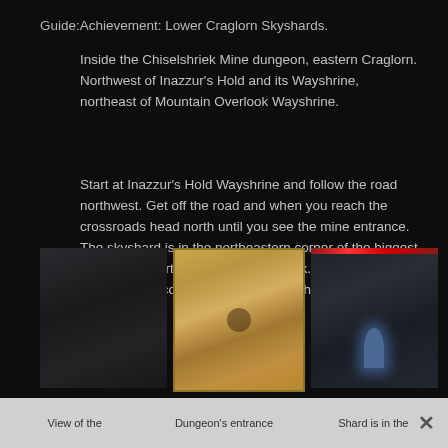Guide:Achievement: Lower Craglorn Skyshards.
Inside the Chiselshriek Mine dungeon, eastern Craglorn. Northwest of Inazzur's Hold and its Wayshrine, northeast of Mountain Overlook Wayshrine.
Start at Inazzur's Hold Wayshrine and follow the road northwest. Get off the road and when you reach the crossroads head north until you see the mine entrance. The skyshard is in the northeastern corner of the biggest cave room, partially covered by a rock. The last boss, The Gracious Beacon, is in the middle of the room.
[Figure (photo): Screenshot of a dark cave environment, view of the dungeon interior]
[Figure (map): Map of the dungeon area showing the terrain and location markers]
[Figure (photo): Screenshot showing the skyshard glowing blue inside the cave room]
View of the
Dungeon's entrance
Shard is in the